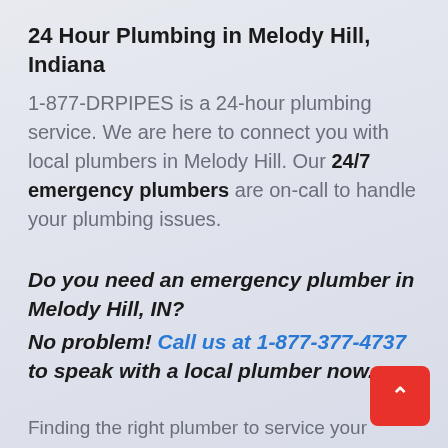24 Hour Plumbing in Melody Hill, Indiana
1-877-DRPIPES is a 24-hour plumbing service. We are here to connect you with local plumbers in Melody Hill. Our 24/7 emergency plumbers are on-call to handle your plumbing issues.
Do you need an emergency plumber in Melody Hill, IN?
No problem! Call us at 1-877-377-4737 to speak with a local plumber now.
Finding the right plumber to service your prop... The Hoosier State can be a hassle at best. W... you call 1-877-DRPIPES in Melody Hill, IN, you can